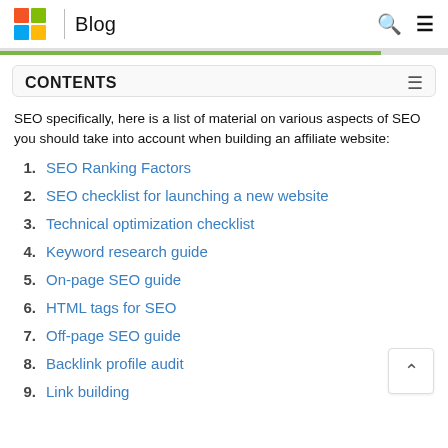Blog
CONTENTS
SEO specifically, here is a list of material on various aspects of SEO you should take into account when building an affiliate website:
1. SEO Ranking Factors
2. SEO checklist for launching a new website
3. Technical optimization checklist
4. Keyword research guide
5. On-page SEO guide
6. HTML tags for SEO
7. Off-page SEO guide
8. Backlink profile audit
9. Link building